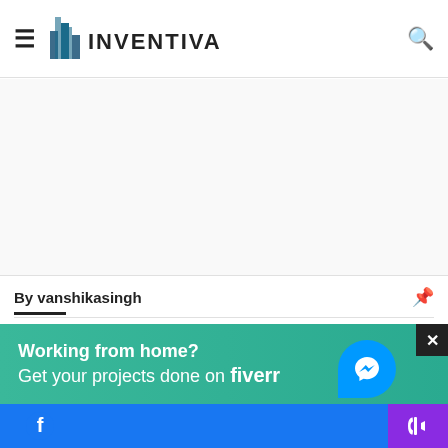INVENTIVA
[Figure (screenshot): White ad space / banner area]
By vanshikasingh
[Figure (photo): HCL building exterior with HCL sign]
HCL aims to inoculate 3.5 lakh India staff before June 30, investing over Rs 100 cr on vaccines
May 28, 2021
[Figure (infographic): Green advertisement banner: Working from home? Get your projects done on fiverr]
[Figure (screenshot): Facebook messenger bubble icon on right side]